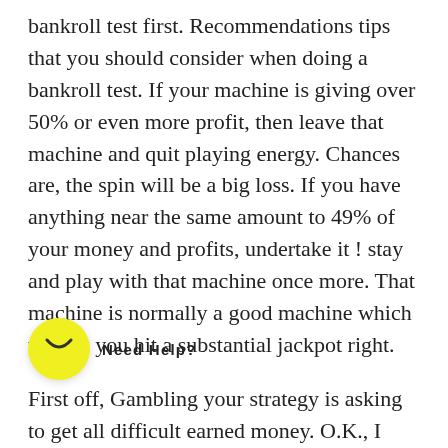bankroll test first. Recommendations tips that you should consider when doing a bankroll test. If your machine is giving over 50% or even more profit, then leave that machine and quit playing energy. Chances are, the spin will be a big loss. If you have anything near the same amount to 49% of your money and profits, undertake it ! stay and play with that machine once more. That machine is normally a good machine which will let you hit a substantial jackpot right.
First off, Gambling your strategy is asking to get all difficult earned money. O.K., I understand you when you obviously don't want build a Gambling strategy or don't figure out how to put together a Gambling strategy I concede your point, anyone can always learn